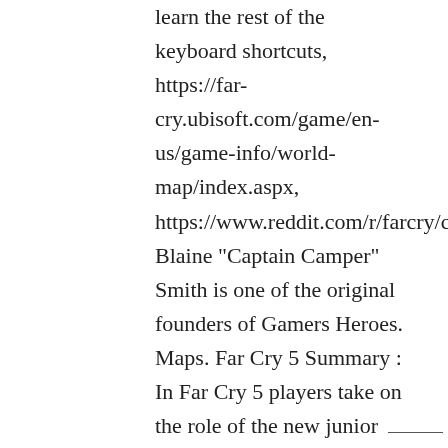learn the rest of the keyboard shortcuts, https://far-cry.ubisoft.com/game/en-us/game-info/world-map/index.aspx, https://www.reddit.com/r/farcry/comm Blaine "Captain Camper" Smith is one of the original founders of Gamers Heroes. Maps. Far Cry 5 Summary : In Far Cry 5 players take on the role of the new junior ______ deputy who becomes ^ embroiled in an attempted—— takeover of America by the Project at Eden's Gate, a